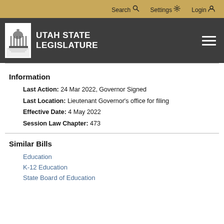Search  Settings  Login
[Figure (logo): Utah State Legislature logo with capitol dome icon and white text on dark background]
Information
Last Action: 24 Mar 2022, Governor Signed
Last Location: Lieutenant Governor's office for filing
Effective Date: 4 May 2022
Session Law Chapter: 473
Similar Bills
Education
K-12 Education
State Board of Education